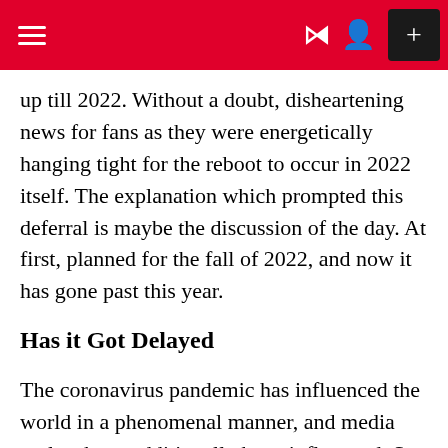≡  ☽ ☻ +
up till 2022. Without a doubt, disheartening news for fans as they were energetically hanging tight for the reboot to occur in 2022 itself. The explanation which prompted this deferral is maybe the discussion of the day. At first, planned for the fall of 2022, and now it has gone past this year.
Has it Got Delayed
The coronavirus pandemic has influenced the world in a phenomenal manner, and media outlets have additionally been influenced. So this is something which is going to influence all the sitcoms and motion pictures which were scheduled for arrival this year. All the creation houses have ended the creation